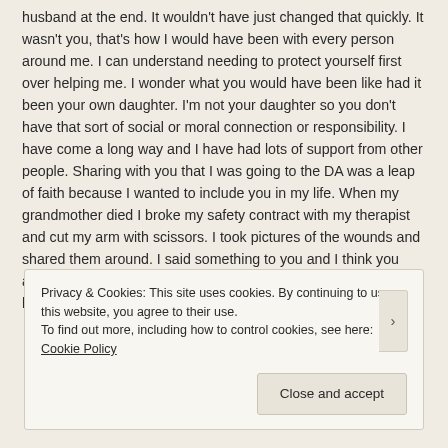husband at the end. It wouldn't have just changed that quickly. It wasn't you, that's how I would have been with every person around me. I can understand needing to protect yourself first over helping me. I wonder what you would have been like had it been your own daughter. I'm not your daughter so you don't have that sort of social or moral connection or responsibility. I have come a long way and I have had lots of support from other people. Sharing with you that I was going to the DA was a leap of faith because I wanted to include you in my life. When my grandmother died I broke my safety contract with my therapist and cut my arm with scissors. I took pictures of the wounds and shared them around. I said something to you and I think you asked your son to call me because it was right after that when he called me that week.
Privacy & Cookies: This site uses cookies. By continuing to use this website, you agree to their use. To find out more, including how to control cookies, see here: Cookie Policy